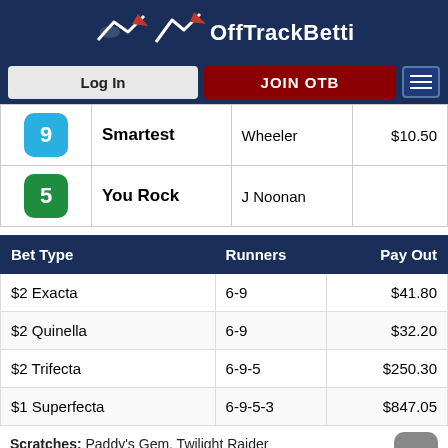[Figure (logo): OffTrackBetting logo with arrow/horse graphic and text]
[Figure (screenshot): Navigation bar with Log In button, JOIN OTB button, and hamburger menu]
| # | Horse | Jockey | Pay Out |
| --- | --- | --- | --- |
| 9 | Smartest | Wheeler | $10.50 |
| 5 | You Rock | J Noonan |  |
| Bet Type | Runners | Pay Out |
| --- | --- | --- |
| $2 Exacta | 6-9 | $41.80 |
| $2 Quinella | 6-9 | $32.20 |
| $2 Trifecta | 6-9-5 | $250.30 |
| $1 Superfecta | 6-9-5-3 | $847.05 |
Scratches: Paddy's Gem, Twilight Raider
Purse: $15,654 Distance: 5 1/2 Furlongs